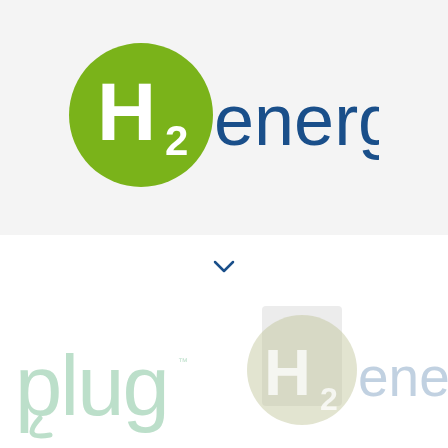[Figure (logo): H2 energy logo: green circle with white H2 text, followed by 'energy' in dark blue sans-serif]
[Figure (logo): Small blue chevron/check mark symbol]
[Figure (logo): Faded light green 'plug' text logo with decorative letter forms]
[Figure (logo): Faded H2 energy logo overlapping with a light rectangular shape]